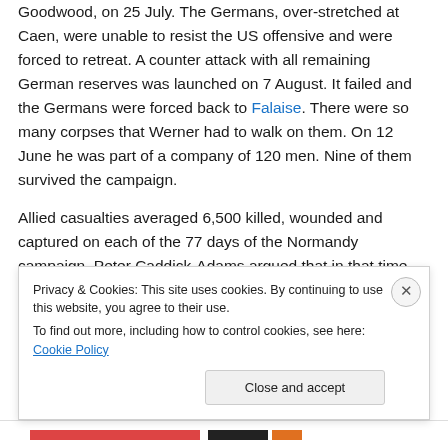Goodwood, on 25 July. The Germans, over-stretched at Caen, were unable to resist the US offensive and were forced to retreat. A counter attack with all remaining German reserves was launched on 7 August. It failed and the Germans were forced back to Falaise. There were so many corpses that Werner had to walk on them. On 12 June he was part of a company of 120 men. Nine of them survived the campaign.
Allied casualties averaged 6,500 killed, wounded and captured on each of the 77 days of the Normandy campaign. Peter Caddick-Adams argued that in that time
Privacy & Cookies: This site uses cookies. By continuing to use this website, you agree to their use.
To find out more, including how to control cookies, see here: Cookie Policy